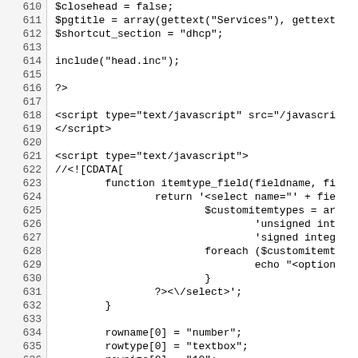Code listing lines 610-639 showing PHP/JavaScript source code including variable assignments, include statements, script tags, CDATA sections, and function definitions.